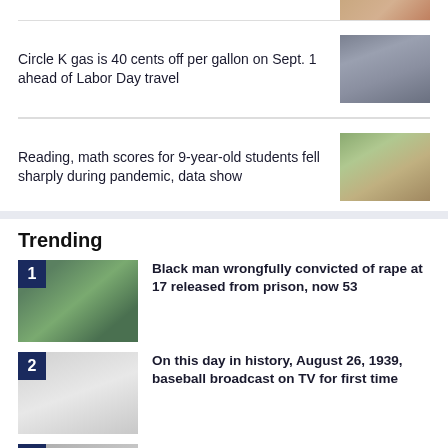[Figure (photo): Partial photo visible at top right corner]
Circle K gas is 40 cents off per gallon on Sept. 1 ahead of Labor Day travel
[Figure (photo): Cars at a gas station]
Reading, math scores for 9-year-old students fell sharply during pandemic, data show
[Figure (photo): Empty school classroom with desks]
Trending
1. Black man wrongfully convicted of rape at 17 released from prison, now 53
[Figure (photo): Portrait of a man outdoors]
2. On this day in history, August 26, 1939, baseball broadcast on TV for first time
[Figure (photo): Historical baseball broadcast image]
3.